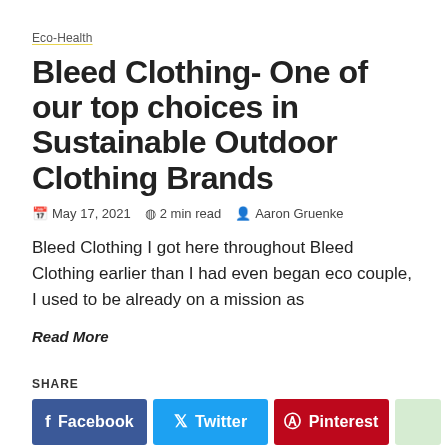Eco-Health
Bleed Clothing- One of our top choices in Sustainable Outdoor Clothing Brands
May 17, 2021  2 min read  Aaron Gruenke
Bleed Clothing I got here throughout Bleed Clothing earlier than I had even began eco couple, I used to be already on a mission as
Read More
SHARE
Facebook  Twitter  Pinterest